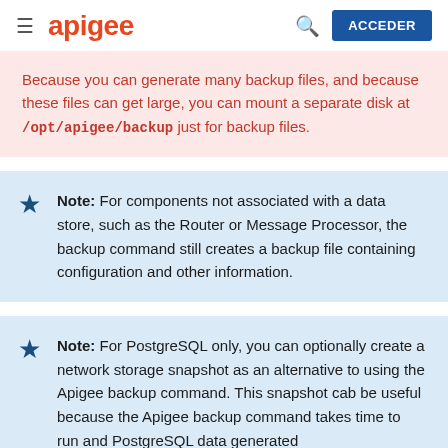apigee  ACCEDER
Because you can generate many backup files, and because these files can get large, you can mount a separate disk at /opt/apigee/backup just for backup files.
Note: For components not associated with a data store, such as the Router or Message Processor, the backup command still creates a backup file containing configuration and other information.
Note: For PostgreSQL only, you can optionally create a network storage snapshot as an alternative to using the Apigee backup command. This snapshot cab be useful because the Apigee backup command takes time to run and PostgreSQL data generated